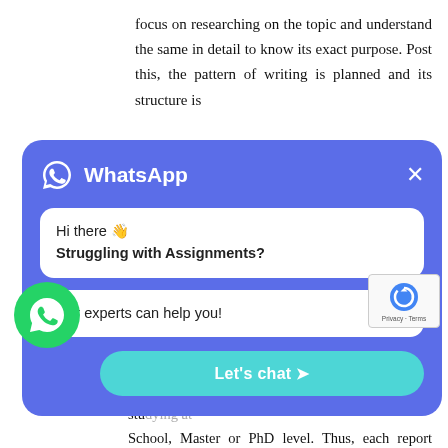focus on researching on the topic and understand the same in detail to know its exact purpose. Post this, the pattern of writing is planned and its structure is [partially obscured] ng the required [partially obscured] with keeping the [partially obscured] report. They aim [partially obscured] to present the [partially obscured] opriate way. [partially obscured] lier reports are [partially obscured] s of events. Thus, [partially obscured] ps the writers to [partially obscured] sent the same in various contexts.
[Figure (screenshot): WhatsApp popup widget with blue background showing 'Hi there wave Struggling with Assignments?' message bubble, 'Our experts can help you!' bubble, and a 'Let's chat >' button in cyan, with close X button and WhatsApp logo header]
Extensive range of services – Report writing is done for a wide range of topics and is offered to students studying at School, Master or PhD level. Thus, each report prepared is